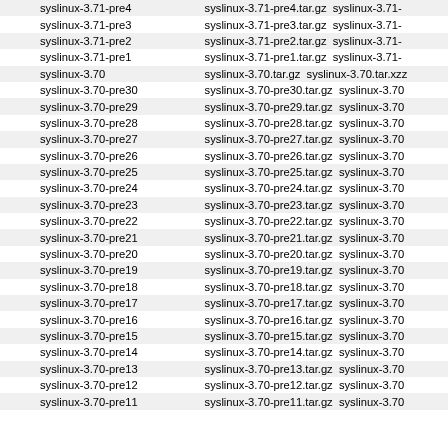| Tag | Files |
| --- | --- |
| syslinux-3.71-pre4 | syslinux-3.71-pre4.tar.gz  syslinux-3.71- |
| syslinux-3.71-pre3 | syslinux-3.71-pre3.tar.gz  syslinux-3.71- |
| syslinux-3.71-pre2 | syslinux-3.71-pre2.tar.gz  syslinux-3.71- |
| syslinux-3.71-pre1 | syslinux-3.71-pre1.tar.gz  syslinux-3.71- |
| syslinux-3.70 | syslinux-3.70.tar.gz  syslinux-3.70.tar.xzz |
| syslinux-3.70-pre30 | syslinux-3.70-pre30.tar.gz  syslinux-3.70 |
| syslinux-3.70-pre29 | syslinux-3.70-pre29.tar.gz  syslinux-3.70 |
| syslinux-3.70-pre28 | syslinux-3.70-pre28.tar.gz  syslinux-3.70 |
| syslinux-3.70-pre27 | syslinux-3.70-pre27.tar.gz  syslinux-3.70 |
| syslinux-3.70-pre26 | syslinux-3.70-pre26.tar.gz  syslinux-3.70 |
| syslinux-3.70-pre25 | syslinux-3.70-pre25.tar.gz  syslinux-3.70 |
| syslinux-3.70-pre24 | syslinux-3.70-pre24.tar.gz  syslinux-3.70 |
| syslinux-3.70-pre23 | syslinux-3.70-pre23.tar.gz  syslinux-3.70 |
| syslinux-3.70-pre22 | syslinux-3.70-pre22.tar.gz  syslinux-3.70 |
| syslinux-3.70-pre21 | syslinux-3.70-pre21.tar.gz  syslinux-3.70 |
| syslinux-3.70-pre20 | syslinux-3.70-pre20.tar.gz  syslinux-3.70 |
| syslinux-3.70-pre19 | syslinux-3.70-pre19.tar.gz  syslinux-3.70 |
| syslinux-3.70-pre18 | syslinux-3.70-pre18.tar.gz  syslinux-3.70 |
| syslinux-3.70-pre17 | syslinux-3.70-pre17.tar.gz  syslinux-3.70 |
| syslinux-3.70-pre16 | syslinux-3.70-pre16.tar.gz  syslinux-3.70 |
| syslinux-3.70-pre15 | syslinux-3.70-pre15.tar.gz  syslinux-3.70 |
| syslinux-3.70-pre14 | syslinux-3.70-pre14.tar.gz  syslinux-3.70 |
| syslinux-3.70-pre13 | syslinux-3.70-pre13.tar.gz  syslinux-3.70 |
| syslinux-3.70-pre12 | syslinux-3.70-pre12.tar.gz  syslinux-3.70 |
| syslinux-3.70-pre11 | syslinux-3.70-pre11.tar.gz  syslinux-3.70 |